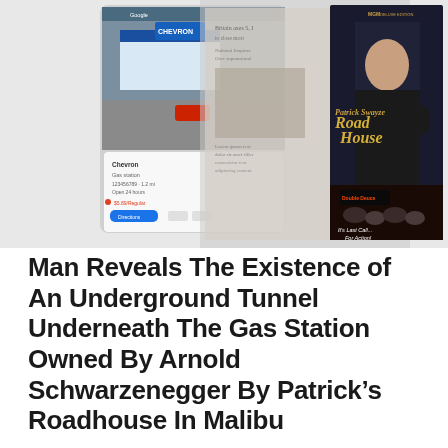[Figure (photo): Composite of three overlapping images: a Google Maps screenshot showing a Chevron gas station with info panel and street view, a faded newspaper/document page overlay in the center, and a DVD cover for 'Road House' featuring Patrick Swayze on the right with tagline 'It's Last Call... For Action!']
Man Reveals The Existence of An Underground Tunnel Underneath The Gas Station Owned By Arnold Schwarzenegger By Patrick's Roadhouse In Malibu
September 29, 2020   Raven Ray   Government and Politricks, Malibu Gotta Burn, My Life, Sellebrity Bullshit,